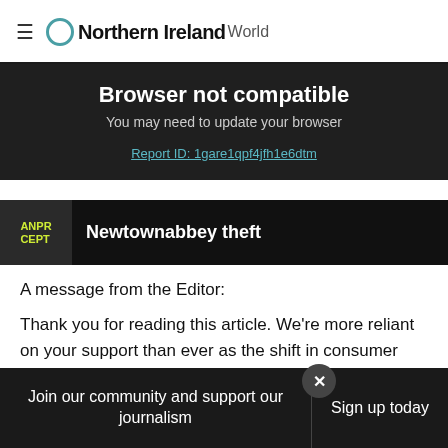≡ Northern Ireland World
Browser not compatible
You may need to update your browser
Report ID: 1gare1qpf4jfh1e6dtm
[Figure (photo): ANPR thumbnail image with text 'ANPR CEPT' on yellow-green background]
Newtownabbey theft
A message from the Editor:
Thank you for reading this article. We're more reliant on your support than ever as the shift in consumer habits brought about by Coronavirus impacts our advertisers. Please
Join our community and support our journalism | Sign up today